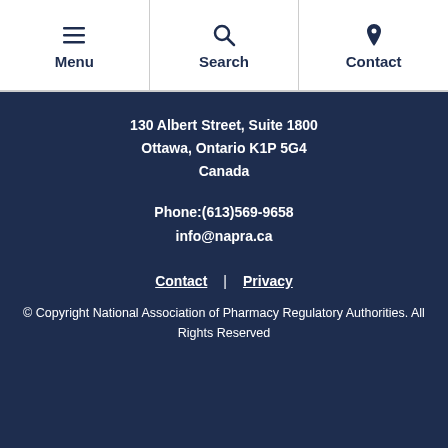Menu | Search | Contact
130 Albert Street, Suite 1800
Ottawa, Ontario K1P 5G4
Canada
Phone:(613)569-9658
info@napra.ca
Contact | Privacy
© Copyright National Association of Pharmacy Regulatory Authorities. All Rights Reserved